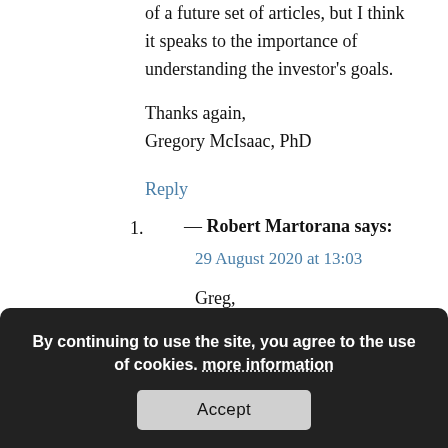of a future set of articles, but I think it speaks to the importance of understanding the investor's goals.
Thanks again,
Gregory McIsaac, PhD
Reply
1. — Robert Martorana says:
29 August 2020 at 13:03
Greg,
By continuing to use the site, you agree to the use of cookies. more information
Accept
“Reason is a slave to passions.” How true!